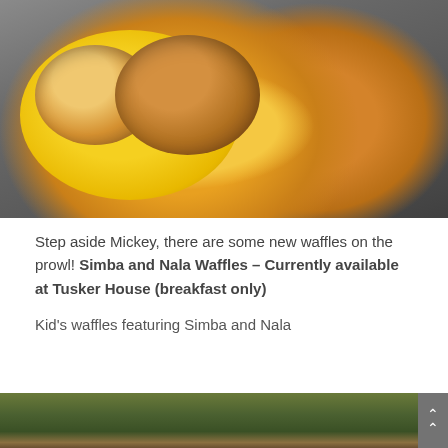[Figure (photo): Two Lion King themed waffle bowls (Simba and Nala) on a yellow plate, photographed on a dark surface]
Step aside Mickey, there are some new waffles on the prowl! Simba and Nala Waffles – Currently available at Tusker House (breakfast only)
Kid's waffles featuring Simba and Nala
[Figure (photo): Bottom portion of a second photo, partially visible, showing green foliage and yellow flowers]